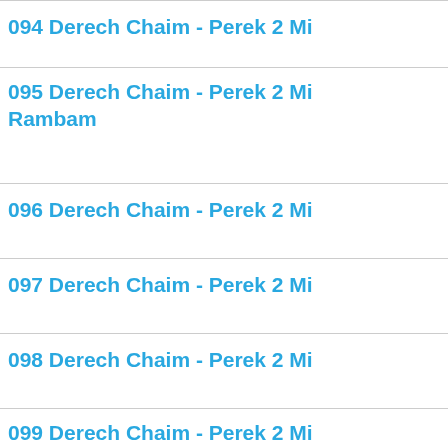094 Derech Chaim - Perek 2 Mi...
095 Derech Chaim - Perek 2 Mi... Rambam
096 Derech Chaim - Perek 2 Mi...
097 Derech Chaim - Perek 2 Mi...
098 Derech Chaim - Perek 2 Mi...
099 Derech Chaim - Perek 2 Mi...
| Prev | 1 | 2 | 3 | 4 | 5 |
| --- | --- | --- | --- | --- | --- |
| 19 | 20 | 21 | 22 | 23 | ... |
| 36 | 37 | 38 | 39 | 40 | ... |
| 53 | 54 | 55 | 56 | 57 | ... |
| 70 | 71 | 72 | 73 | 74 | ... |